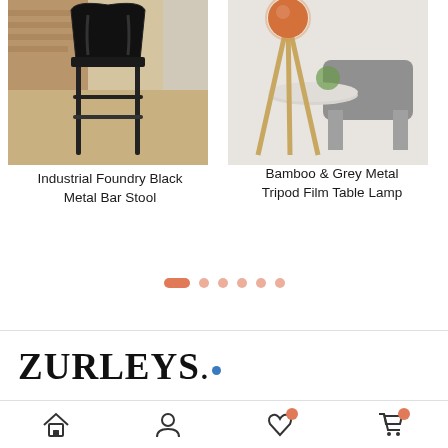[Figure (photo): Industrial Foundry Black Metal Bar Stool product photo showing a black metal bar stool against a brick wall background with wood floor]
[Figure (photo): Bamboo & Grey Metal Tripod Film Table Lamp product photo showing a lamp with bamboo tripod legs and a copper head, with a grey chair in the background]
Industrial Foundry Black Metal Bar Stool
Bamboo & Grey Metal Tripod Film Table Lamp
[Figure (other): Carousel pagination indicator with one wide pill dot and five circular dots, all in salmon/coral color]
[Figure (logo): Zurleys. logo with serif font and a blue dot after the period]
[Figure (other): Bottom navigation bar with home icon, person/account icon, heart/wishlist icon with salmon badge, and shopping cart icon with salmon badge]